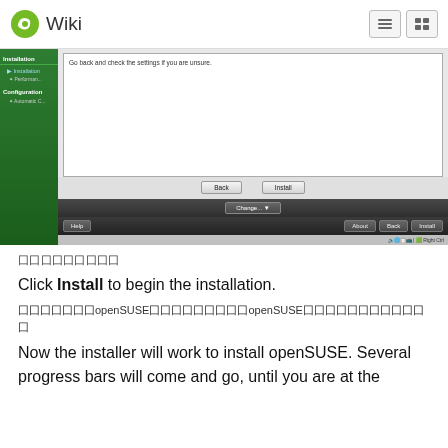Wiki
[Figure (screenshot): openSUSE installer screenshot showing a dialog with 'Go back and check the settings if you are unsure.' text, Back and Install buttons, a Change... dropdown, and bottom navigation with Help, About, Back, Install buttons. The installer has a green sidebar with Installation and Configuration sections.]
囗囗囗囗囗囗囗囗囗
Click Install to begin the installation.
囗囗囗囗囗囗囗openSUSE囗囗囗囗囗囗囗囗囗openSUSE囗囗囗囗囗囗囗囗囗囗囗囗
Now the installer will work to install openSUSE. Several progress bars will come and go, until you are at the